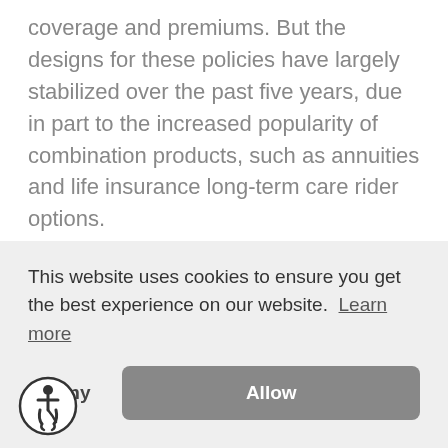coverage and premiums. But the designs for these policies have largely stabilized over the past five years, due in part to the increased popularity of combination products, such as annuities and life insurance long-term care rider options.

At Insurance & Estates we definitely recommend looking into the LTC rider options if you are already a permanent insurance policy own[er and want to protect against long-term care] risk[s]
This website uses cookies to ensure you get the best experience on our website. Learn more
Deny
Allow